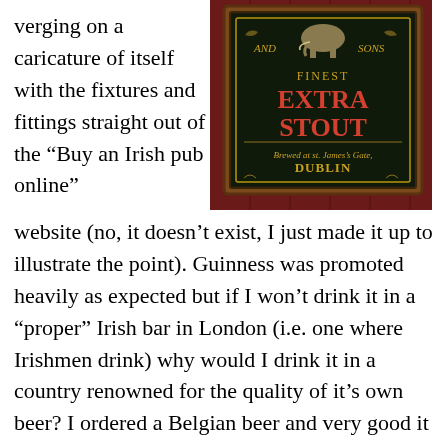verging on a caricature of itself with the fixtures and fittings straight out of the “Buy an Irish pub online” website (no, it doesn’t exist, I just made it up to illustrate the point). Guinness was promoted heavily as expected but if I won’t drink it in a “proper” Irish bar in London (i.e. one where Irishmen drink) why would I drink it in a country renowned for the quality of it’s own beer? I ordered a Belgian beer and very good it was too. I took a seat to watch the re-run sport on one of the numerous big screens
[Figure (photo): Photo of a framed pub sign on a dark red wooden wall. The sign reads 'AND SONS FINEST EXTRA STOUT Brewed at st. James's Gate DUBLIN' with a Guinness-style design including a harp and decorative elements.]